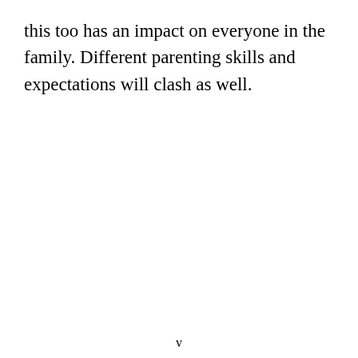this too has an impact on everyone in the family. Different parenting skills and expectations will clash as well.
v